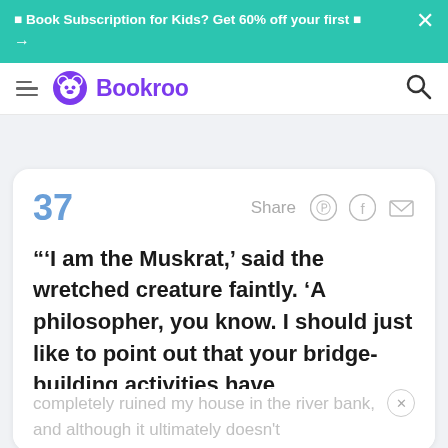📚 Book Subscription for Kids? Get 60% off your first 📚 →
Bookroo
37
Share
"'I am the Muskrat,' said the wretched creature faintly. 'A philosopher, you know. I should just like to point out that your bridge-building activities have completely ruined my house in the river bank, and although it ultimately doesn't